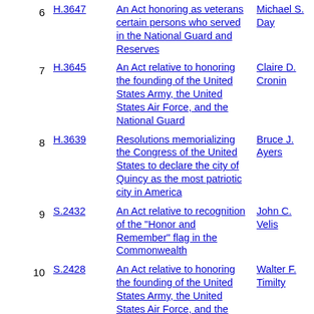| # | Bill | Description | Name |
| --- | --- | --- | --- |
| 6 | H.3647 | An Act honoring as veterans certain persons who served in the National Guard and Reserves | Michael S. Day |
| 7 | H.3645 | An Act relative to honoring the founding of the United States Army, the United States Air Force, and the National Guard | Claire D. Cronin |
| 8 | H.3639 | Resolutions memorializing the Congress of the United States to declare the city of Quincy as the most patriotic city in America | Bruce J. Ayers |
| 9 | S.2432 | An Act relative to recognition of the "Honor and Remember" flag in the Commonwealth | John C. Velis |
| 10 | S.2428 | An Act relative to honoring the founding of the United States Army, the United States Air Force, and the National Guard | Walter F. Timilty |
| 11 |  | An Act to honor our veterans... | Michael |